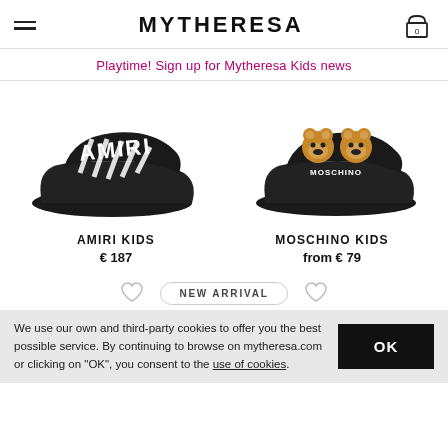MYTHERESA
Playtime! Sign up for Mytheresa Kids news
[Figure (photo): Black AMIRI Kids slide sandal with white AMIRI logo text on strap]
AMIRI KIDS
€ 187
[Figure (photo): Black Moschino Kids slide sandal with teddy bear face embroidery and Moschino text on strap]
MOSCHINO KIDS
from € 79
NEW ARRIVAL
We use our own and third-party cookies to offer you the best possible service. By continuing to browse on mytheresa.com or clicking on "OK", you consent to the use of cookies.